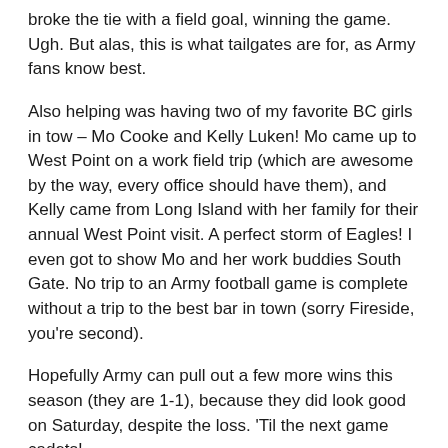broke the tie with a field goal, winning the game. Ugh. But alas, this is what tailgates are for, as Army fans know best.
Also helping was having two of my favorite BC girls in tow – Mo Cooke and Kelly Luken! Mo came up to West Point on a work field trip (which are awesome by the way, every office should have them), and Kelly came from Long Island with her family for their annual West Point visit. A perfect storm of Eagles! I even got to show Mo and her work buddies South Gate. No trip to an Army football game is complete without a trip to the best bar in town (sorry Fireside, you're second).
Hopefully Army can pull out a few more wins this season (they are 1-1), because they did look good on Saturday, despite the loss. 'Til the next game cadets!